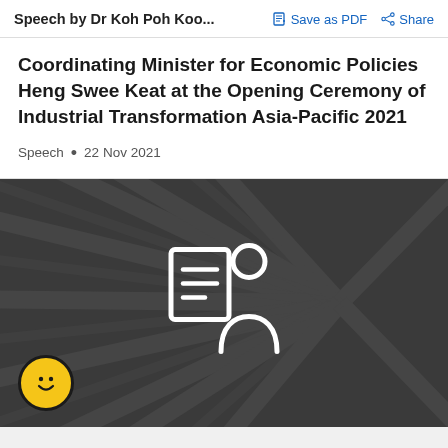Speech by Dr Koh Poh Koo...
Coordinating Minister for Economic Policies Heng Swee Keat at the Opening Ceremony of Industrial Transformation Asia-Pacific 2021
Speech • 22 Nov 2021
[Figure (illustration): Dark panel with radial ray pattern background and a white outline icon of a person giving a speech/presentation (figure at podium with document). A yellow smiley face circle icon is in the bottom-left corner.]